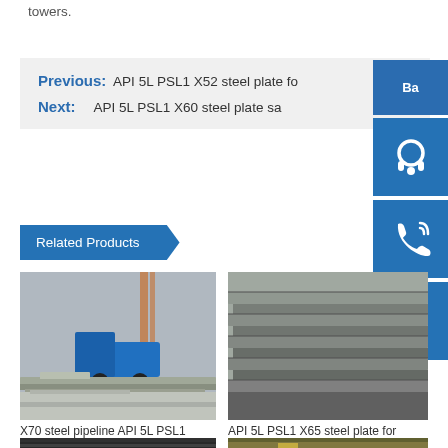towers.
Previous: API 5L PSL1 X52 steel plate fo
Next: API 5L PSL1 X60 steel plate sa
Related Products
[Figure (photo): Steel plates stacked outdoors with crane and truck visible in background]
X70 steel pipeline API 5L PSL1
[Figure (photo): Stacked dark steel plates viewed from the side]
API 5L PSL1 X65 steel plate for
[Figure (photo): Dark steel pipes or tubes stacked together]
[Figure (photo): Steel construction materials outdoors with yellow equipment]